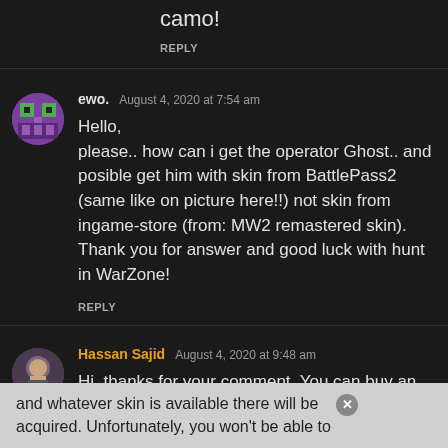camo!
REPLY
ewo.  August 4, 2020 at 7:54 am
Hello,
please.. how can i get the operator Ghost.. and posible get him with skin from BattlePass2 (same like on picture here!!) not skin from ingame-store (from: MW2 remastered skin). Thank you for answer and good luck with hunt in WarZone!
REPLY
Hassan Sajid  August 4, 2020 at 9:48 am
Hi, thanks for your comment. You can buy an Operator Bundle from the in-game store and whatever skin is available there will be acquired. Unfortunately, you won't be able to